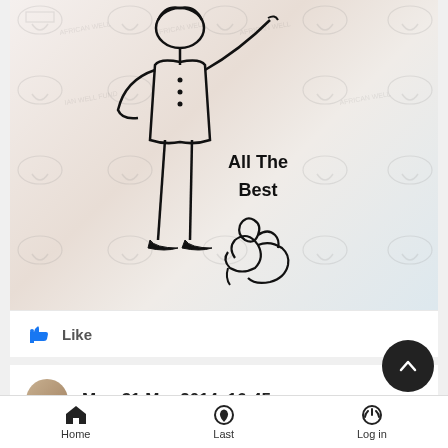[Figure (illustration): A hand-drawn sketch of a person standing with arms akimbo, wearing a suit. Text on the drawing reads 'All The Best' with a signature that appears to read 'Geg Clou' or similar. The background has watermark logos reading 'African Well Fund'.]
Like
Mon 31 Mar 2014, 16:45
Home   Last   Log in